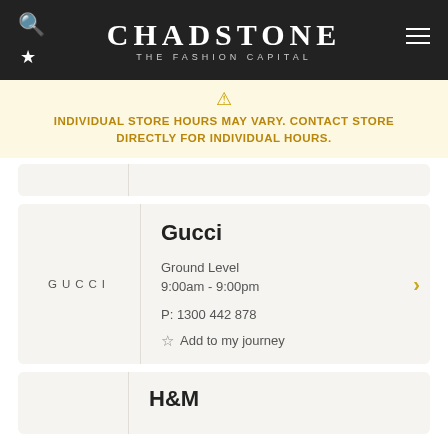CHADSTONE THE FASHION CAPITAL
INDIVIDUAL STORE HOURS MAY VARY. CONTACT STORE DIRECTLY FOR INDIVIDUAL HOURS.
Gucci
Ground Level
9:00am - 9:00pm
P: 1300 442 878
Add to my journey
H&M